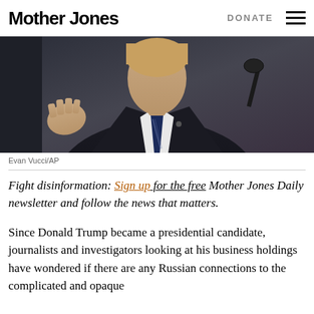Mother Jones | DONATE
[Figure (photo): A man in a dark suit and striped tie standing at a microphone, gesturing with his hand raised, photographed from the chest up against a dark background.]
Evan Vucci/AP
Fight disinformation: Sign up for the free Mother Jones Daily newsletter and follow the news that matters.
Since Donald Trump became a presidential candidate, journalists and investigators looking at his business holdings have wondered if there are any Russian connections to the complicated and opaque